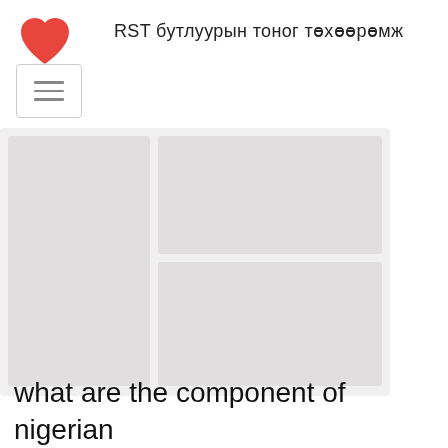RST бутлуурын тоног төхөөрөмж
[Figure (screenshot): Website header with red heart logo icon and Mongolian text site title, plus hamburger menu button. Below is a blurred/placeholder content image area with grey rectangles representing article thumbnails or images.]
what are the component of nigerian